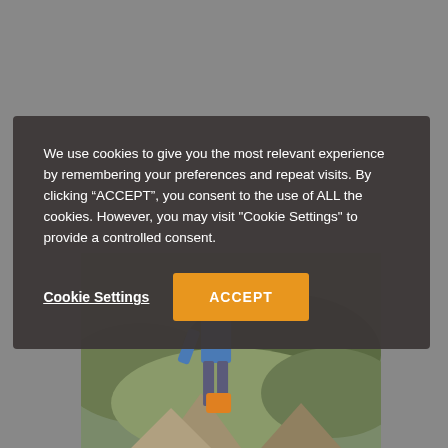[Figure (photo): A person in blue helmet and clothing on rocky terrain with green shrubby hillside in background, partially obscured by cookie consent overlay]
We use cookies to give you the most relevant experience by remembering your preferences and repeat visits. By clicking “ACCEPT”, you consent to the use of ALL the cookies. However, you may visit "Cookie Settings" to provide a controlled consent.